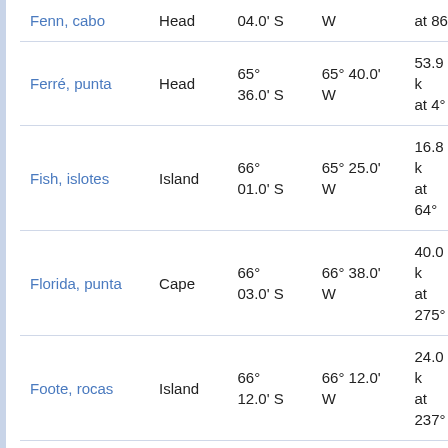| Name | Type | Latitude | Longitude | Distance |
| --- | --- | --- | --- | --- |
| Fenn, cabo | Head | 04.0' S | W | at 86 |
| Ferré, punta | Head | 65° 36.0' S | 65° 40.0' W | 53.9 k at 4° |
| Fish, islotes | Island | 66° 01.0' S | 65° 25.0' W | 16.8 k at 64° |
| Florida, punta | Cape | 66° 03.0' S | 66° 38.0' W | 40.0 k at 275° |
| Foote, rocas | Island | 66° 12.0' S | 66° 12.0' W | 24.0 k at 237° |
| Fowler, islotes | Island | 66° 24.0' S | 66° 25.0' W | 46.2 k at 220° |
| Fricker, glaciar | Glacier | 67° 02.0' S | 64° 56.0' W | 111.6 k at 161° |
| Garde, islotes | Island | 65° 51.0' S | 66° 21.0' W | 37.6 k at 313° |
| (partial) |  | 65° | 65° 13.0' | 41.2 |